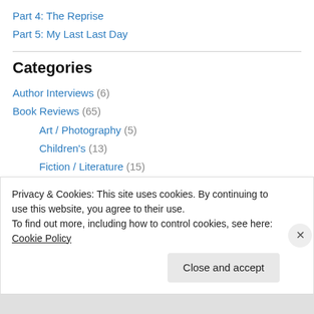Part 4: The Reprise
Part 5: My Last Last Day
Categories
Author Interviews (6)
Book Reviews (65)
Art / Photography (5)
Children's (13)
Fiction / Literature (15)
Graphic Novels (2)
History / Politics (3)
Privacy & Cookies: This site uses cookies. By continuing to use this website, you agree to their use. To find out more, including how to control cookies, see here: Cookie Policy